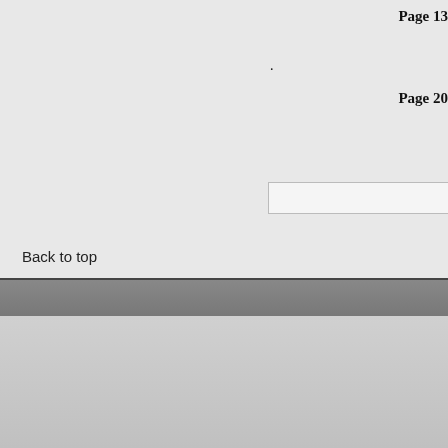Page 13
.
Page 20
Back to top
CONTACT US | EMPLOYMENT | ABOU
The University of Oklahoma Libraries | 4
Disclaimer | Copyright © 2009 The Board of
The University of Oklah